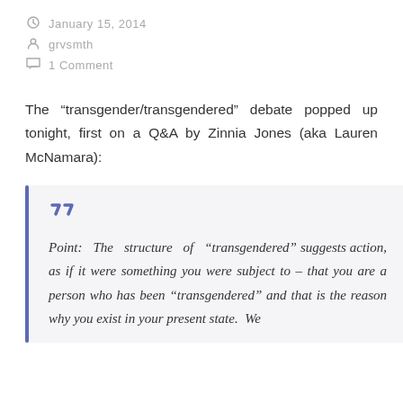January 15, 2014
grvsmth
1 Comment
The “transgender/transgendered” debate popped up tonight, first on a Q&A by Zinnia Jones (aka Lauren McNamara):
Point: The structure of “transgendered” suggests action, as if it were something you were subject to – that you are a person who has been “transgendered” and that is the reason why you exist in your present state. We